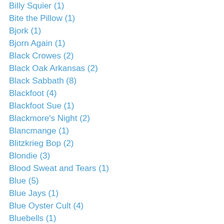Billy Squier (1)
Bite the Pillow (1)
Bjork (1)
Bjorn Again (1)
Black Crowes (2)
Black Oak Arkansas (2)
Black Sabbath (8)
Blackfoot (4)
Blackfoot Sue (1)
Blackmore's Night (2)
Blancmange (1)
Blitzkrieg Bop (2)
Blondie (3)
Blood Sweat and Tears (1)
Blue (5)
Blue Jays (1)
Blue Oyster Cult (4)
Bluebells (1)
Blues Band (1)
Blur (1)